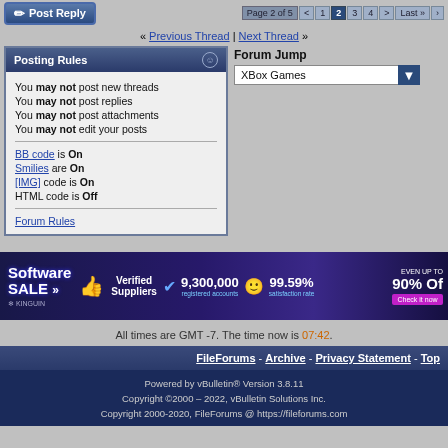Post Reply | Page 2 of 5 | 1 2 3 4 > Last »
« Previous Thread | Next Thread »
Posting Rules
You may not post new threads
You may not post replies
You may not post attachments
You may not edit your posts
BB code is On
Smilies are On
[IMG] code is On
HTML code is Off
Forum Rules
Forum Jump
XBox Games
[Figure (screenshot): Kinguin Software Sale advertisement banner: Software SALE >>, Verified Suppliers, 9,300,000 registered accounts, 99.59% satisfaction rate, Even up to 90% Off, Check it now button]
All times are GMT -7. The time now is 07:42.
FileForums - Archive - Privacy Statement - Top
Powered by vBulletin® Version 3.8.11
Copyright ©2000 – 2022, vBulletin Solutions Inc.
Copyright 2000-2020, FileForums @ https://fileforums.com